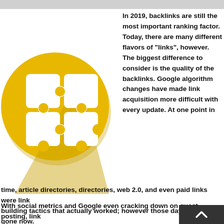[Figure (illustration): Yellow circle with a white puzzle icon (4 puzzle pieces arranged in a 2x2 grid with interlocking tabs) and a shadow effect on a light gray background.]
In 2019, backlinks are still the most important ranking factor. Today, there are many different flavors of "links", however. The biggest difference to consider is the quality of the backlinks. Google algorithm changes have made link acquisition more difficult with every update. At one point in time, article directories, directories, web 2.0, and even paid links were link building tactics that actually worked; however those days are long gone now.
With social metrics and Google even cracking down on guest posting, link acquisition has become more about the quality of the content and relationship building. The first step to building a relationship is understanding how to find